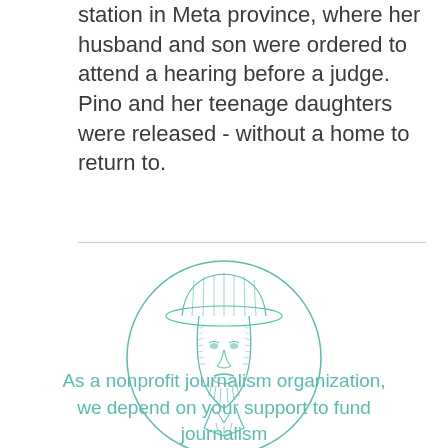station in Meta province, where her husband and son were ordered to attend a hearing before a judge. Pino and her teenage daughters were released - without a home to return to.
[Figure (illustration): A circular illustration in teal/green ink showing a man wearing a wide-brimmed hat, depicted in an engraving/sketch style.]
As a nonprofit journalism organization, we depend on your support to fund journalism